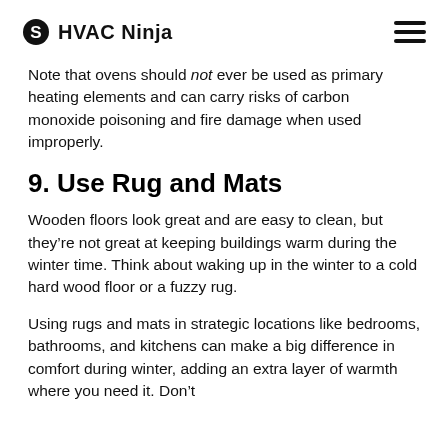HVAC Ninja
Note that ovens should not ever be used as primary heating elements and can carry risks of carbon monoxide poisoning and fire damage when used improperly.
9. Use Rug and Mats
Wooden floors look great and are easy to clean, but they’re not great at keeping buildings warm during the winter time. Think about waking up in the winter to a cold hard wood floor or a fuzzy rug.
Using rugs and mats in strategic locations like bedrooms, bathrooms, and kitchens can make a big difference in comfort during winter, adding an extra layer of warmth where you need it. Don’t